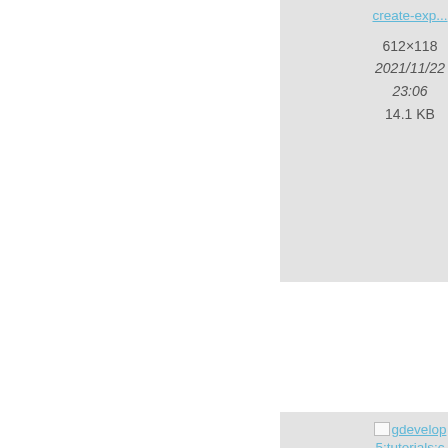[Figure (screenshot): File card for create-exp... image. Shows link 'create-exp...', dimensions 612×118, date 2021/11/22 23:06, size 14.1 KB]
[Figure (screenshot): File card for param... / create... image (partially visible). Shows dimensions 378..., date 2021/..., time 23..., size 11....]
[Figure (screenshot): File card for gdevelop5:tutorials:create-rotate-move-enemies-event.png. Link text 'create-rot...', dimensions 1225×135, date 2021/11/22 23:06, size 23.9 KB]
[Figure (screenshot): File card for gd... / 5:tuto... / reate- / de / squa... / create... image (partially visible). Shows dimensions 1582..., date 2021/..., time 23..., size 44....]
[Figure (screenshot): Partially visible file card at bottom left showing gdevelop5:tuto... image thumbnail text]
[Figure (screenshot): Partially visible file card at bottom right]